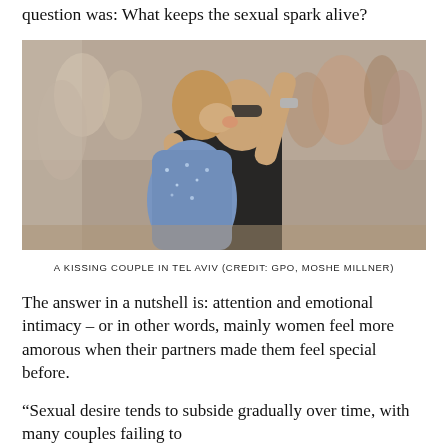question was: What keeps the sexual spark alive?
[Figure (photo): A couple kissing in a crowd outdoors. A man in a black tank top and a woman in a blue top embrace and kiss, with a crowd of people visible in the background.]
A KISSING COUPLE IN TEL AVIV (CREDIT: GPO, MOSHE MILLNER)
The answer in a nutshell is: attention and emotional intimacy – or in other words, mainly women feel more amorous when their partners made them feel special before.
“Sexual desire tends to subside gradually over time, with many couples failing to